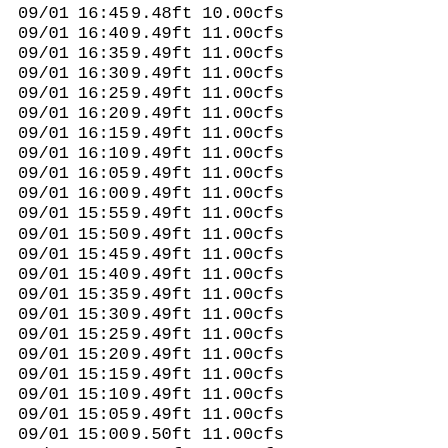| Date | Time | Stage | Flow |
| --- | --- | --- | --- |
| 09/01 | 16:45 | 9.48ft | 10.00cfs |
| 09/01 | 16:40 | 9.49ft | 11.00cfs |
| 09/01 | 16:35 | 9.49ft | 11.00cfs |
| 09/01 | 16:30 | 9.49ft | 11.00cfs |
| 09/01 | 16:25 | 9.49ft | 11.00cfs |
| 09/01 | 16:20 | 9.49ft | 11.00cfs |
| 09/01 | 16:15 | 9.49ft | 11.00cfs |
| 09/01 | 16:10 | 9.49ft | 11.00cfs |
| 09/01 | 16:05 | 9.49ft | 11.00cfs |
| 09/01 | 16:00 | 9.49ft | 11.00cfs |
| 09/01 | 15:55 | 9.49ft | 11.00cfs |
| 09/01 | 15:50 | 9.49ft | 11.00cfs |
| 09/01 | 15:45 | 9.49ft | 11.00cfs |
| 09/01 | 15:40 | 9.49ft | 11.00cfs |
| 09/01 | 15:35 | 9.49ft | 11.00cfs |
| 09/01 | 15:30 | 9.49ft | 11.00cfs |
| 09/01 | 15:25 | 9.49ft | 11.00cfs |
| 09/01 | 15:20 | 9.49ft | 11.00cfs |
| 09/01 | 15:15 | 9.49ft | 11.00cfs |
| 09/01 | 15:10 | 9.49ft | 11.00cfs |
| 09/01 | 15:05 | 9.49ft | 11.00cfs |
| 09/01 | 15:00 | 9.50ft | 11.00cfs |
| 09/01 | 14:55 | 9.49ft | 11.00cfs |
| 09/01 | 14:50 | 9.49ft | 11.00cfs |